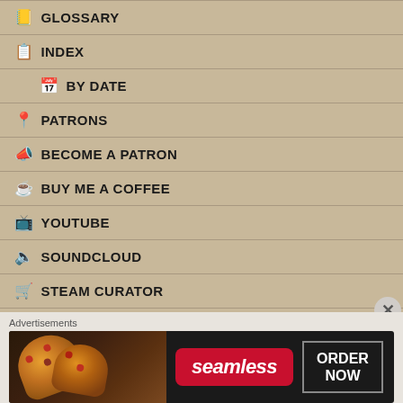📒 GLOSSARY
📋 INDEX
📅 BY DATE
📍 PATRONS
📣 BECOME A PATRON
☕ BUY ME A COFFEE
📺 YOUTUBE
🔈 SOUNDCLOUD
🛒 STEAM CURATOR
❤ CONTACT
Advertisements
[Figure (other): Seamless food delivery advertisement banner with pizza image, Seamless logo, and ORDER NOW button]